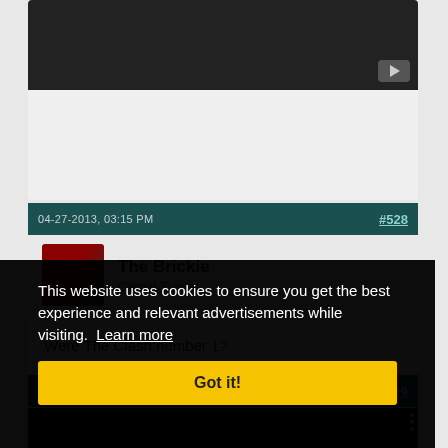[Figure (screenshot): Dark video thumbnail area with YouTube play button in bottom right corner]
04-27-2013, 03:15 PM
#528
[Figure (photo): User avatar thumbnail showing a person]
The Brickie
Carpal Tunnel
Were The Clash number 1?
#529
This website uses cookies to ensure you get the best experience and relevant advertisements while visiting.  Learn more
Got it!